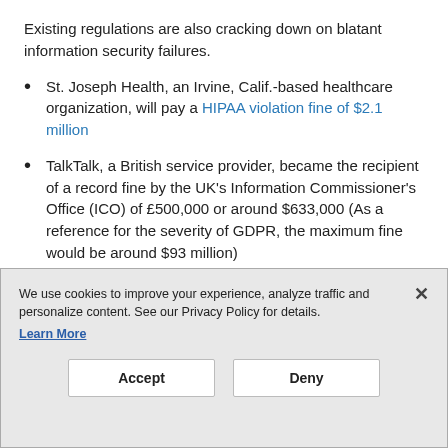Existing regulations are also cracking down on blatant information security failures.
St. Joseph Health, an Irvine, Calif.-based healthcare organization, will pay a HIPAA violation fine of $2.1 million
TalkTalk, a British service provider, became the recipient of a record fine by the UK's Information Commissioner's Office (ICO) of £500,000 or around $633,000 (As a reference for the severity of GDPR, the maximum fine would be around $93 million)
We use cookies to improve your experience, analyze traffic and personalize content. See our Privacy Policy for details. Learn More
Accept
Deny